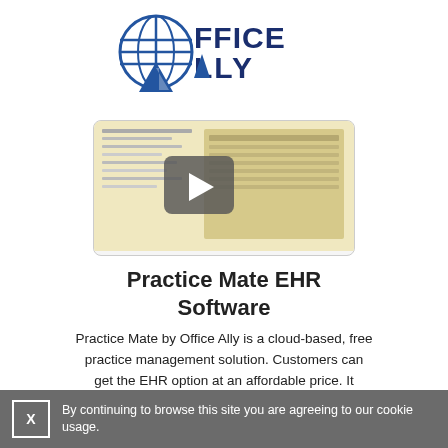[Figure (logo): Office Ally logo with blue and navy text and a globe/triangle icon]
[Figure (screenshot): Video thumbnail showing a software interface with a play button overlay]
Practice Mate EHR Software
Practice Mate by Office Ally is a cloud-based, free practice management solution. Customers can get the EHR option at an affordable price. It includes scheduling, superbills, appointment reminders, cl... Read more
By continuing to browse this site you are agreeing to our cookie usage.